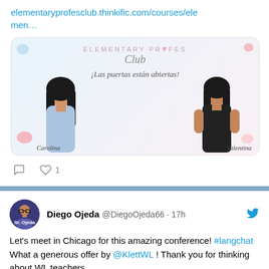elementaryprofesclub.thinkific.com/courses/elemen…
[Figure (photo): Elementary Profes Club promotional image showing two women named Carolina and Valentina with decorative elements and text 'Las puertas están abiertas!']
💬  🤍 1
Diego Ojeda @DiegoOjeda66 · 17h
Let's meet in Chicago for this amazing conference! #langchat What a generous offer by @KlettWL ! Thank you for thinking about WL teachers.
Klett World Langua... @Klett... · 18h